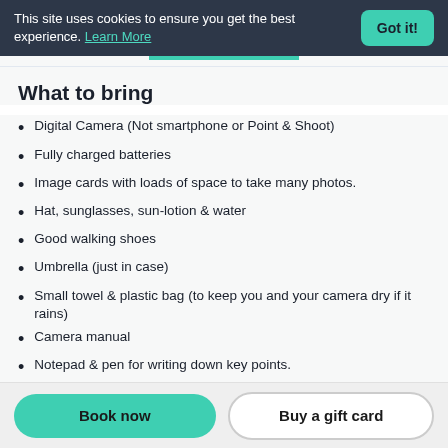This site uses cookies to ensure you get the best experience. Learn More  Got it!
What to bring
Digital Camera (Not smartphone or Point & Shoot)
Fully charged batteries
Image cards with loads of space to take many photos.
Hat, sunglasses, sun-lotion & water
Good walking shoes
Umbrella (just in case)
Small towel & plastic bag (to keep you and your camera dry if it rains)
Camera manual
Notepad & pen for writing down key points.
Optional extras - tripod, cable release or remote.
Book now  Buy a gift card